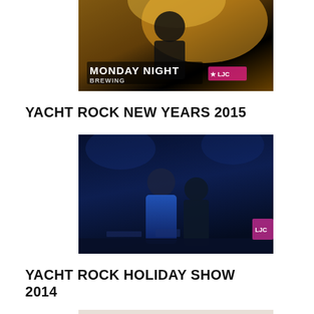[Figure (photo): Partial photo of Monday Night Brewing event, dark stage with orange/yellow lighting and text 'MONDAY NIGHT' visible]
YACHT ROCK NEW YEARS 2015
[Figure (photo): Dark blue-toned concert photo showing performers on stage at Yacht Rock New Years 2015 event]
YACHT ROCK HOLIDAY SHOW 2014
[Figure (photo): Christmas-themed photo showing two people smiling, one wearing a red 'Stay Jolly' shirt, with holiday decorations including reindeer antlers in the background]